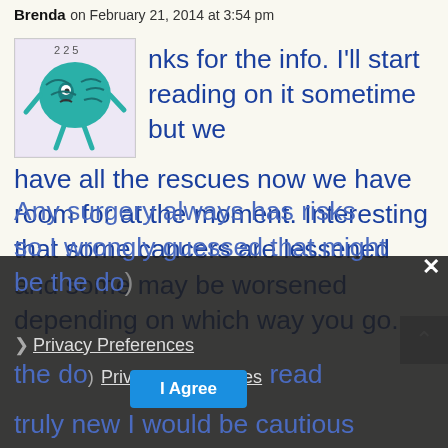Brenda on February 21, 2014 at 3:54 pm
[Figure (illustration): Cartoon illustration of a green brain character with arms, legs, and an angry/sick expression, with small numbers above it.]
Thanks for the info. I'll start reading on it sometime but we have all the rescues now we have room for at the moment. Interesting that some cancers are lessened and some may be worsened depending on which way you go.

Any surgery always has risks so I wrongly guessed that might be the do... read about this... fore. but if it is truly new I would be cautious
Privacy Preferences
I Agree